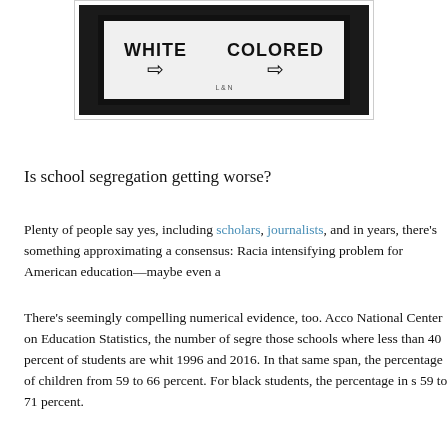[Figure (photo): Black and white photograph of a segregation-era sign reading WHITE with left arrow and COLORED with right arrow, with L&N text below, set in a dark wooden frame.]
Is school segregation getting worse?
Plenty of people say yes, including scholars, journalists, and in years, there’s something approximating a consensus: Racia intensifying problem for American education—maybe even a
There’s seemingly compelling numerical evidence, too. Acco National Center on Education Statistics, the number of segre those schools where less than 40 percent of students are whit 1996 and 2016. In that same span, the percentage of children from 59 to 66 percent. For black students, the percentage in s 59 to 71 percent.